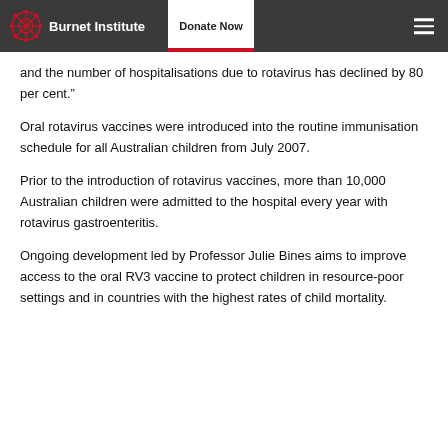Burnet Institute | Donate Now
and the number of hospitalisations due to rotavirus has declined by 80 per cent.”
Oral rotavirus vaccines were introduced into the routine immunisation schedule for all Australian children from July 2007.
Prior to the introduction of rotavirus vaccines, more than 10,000 Australian children were admitted to the hospital every year with rotavirus gastroenteritis.
Ongoing development led by Professor Julie Bines aims to improve access to the oral RV3 vaccine to protect children in resource-poor settings and in countries with the highest rates of child mortality.